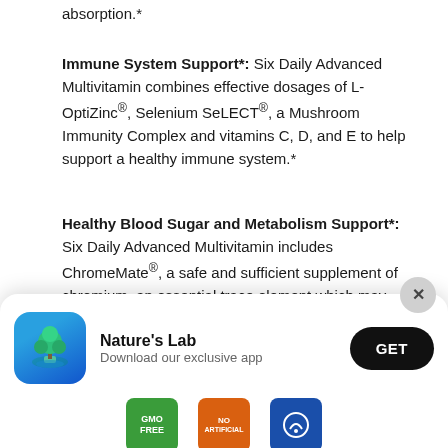absorption.*
Immune System Support*: Six Daily Advanced Multivitamin combines effective dosages of L-OptiZinc®, Selenium SeLECT®, a Mushroom Immunity Complex and vitamins C, D, and E to help support a healthy immune system.*
Healthy Blood Sugar and Metabolism Support*: Six Daily Advanced Multivitamin includes ChromeMate®, a safe and sufficient supplement of chromium, an essential trace element which may support the metabolism of fats, carbohydrates, and proteins.* Chromium may also help enhance the effects of insulin to support healthy blood sugar (within normal limits) and metabolism.*
[Figure (screenshot): App download popup banner showing Nature's Lab logo, 'Nature's Lab' text, 'Download our exclusive app' subtext, and a GET button. Close button (X) in top right corner.]
[Figure (infographic): Row of certification badges at bottom: GMO FREE (green), NO ARTIFICIAL (orange), and a science/lab badge (blue).]